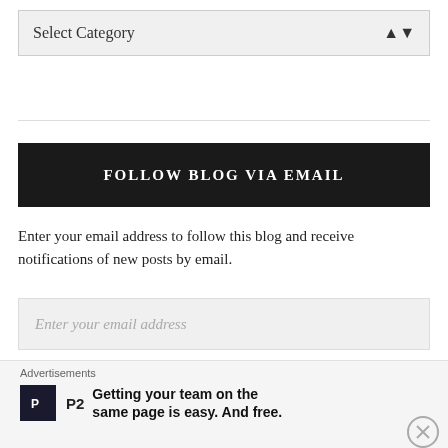Select Category
FOLLOW BLOG VIA EMAIL
Enter your email address to follow this blog and receive notifications of new posts by email.
Enter your email address
Follow
Join 754 other followers
Advertisements
Getting your team on the same page is easy. And free.